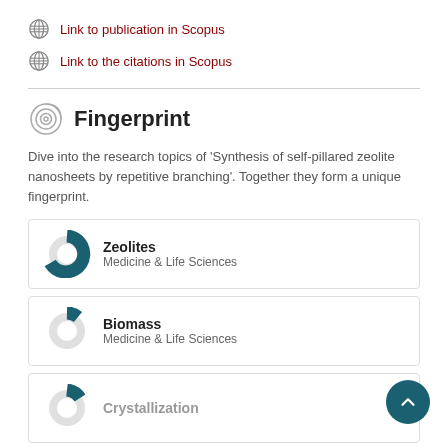Link to publication in Scopus
Link to the citations in Scopus
Fingerprint
Dive into the research topics of 'Synthesis of self-pillared zeolite nanosheets by repetitive branching'. Together they form a unique fingerprint.
Zeolites - Medicine & Life Sciences
Biomass - Medicine & Life Sciences
Crystallization